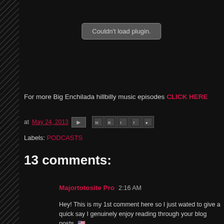[Figure (screenshot): Plugin error box reading 'Couldn't load plugin.' on dark background]
For more Big Enchilada hillbilly music episodes CLICK HERE
at May 24, 2013 [share icons: Gmail, Blogger, Twitter, Facebook, Pinterest]
Labels: PODCASTS
13 comments:
Majortotosite Pro  2:16 AM
Hey! This is my 1st comment here so I just wated to give a quick say I genuinely enjoy reading through your blog posts. 🇺🇸